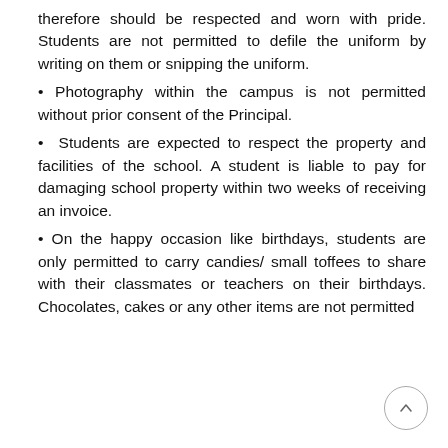therefore should be respected and worn with pride. Students are not permitted to defile the uniform by writing on them or snipping the uniform.
Photography within the campus is not permitted without prior consent of the Principal.
Students are expected to respect the property and facilities of the school. A student is liable to pay for damaging school property within two weeks of receiving an invoice.
On the happy occasion like birthdays, students are only permitted to carry candies/ small toffees to share with their classmates or teachers on their birthdays. Chocolates, cakes or any other items are not permitted